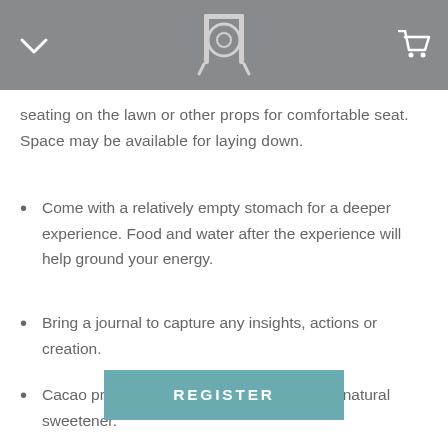[gong icon with chevron and cart]
seating on the lawn or other props for comfortable seat. Space may be available for laying down.
Come with a relatively empty stomach for a deeper experience. Food and water after the experience will help ground your energy.
Bring a journal to capture any insights, actions or creation.
Cacao preparation is vegan, spices and lite natural sweetener.
REGISTER